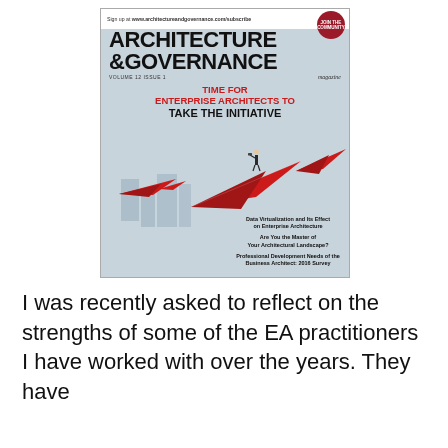[Figure (illustration): Cover of Architecture & Governance Magazine, Volume 12 Issue 1, featuring a headline 'Time for Enterprise Architects to Take the Initiative' with red paper airplanes illustration and bullet topics on the lower right.]
I was recently asked to reflect on the strengths of some of the EA practitioners I have worked with over the years. They have